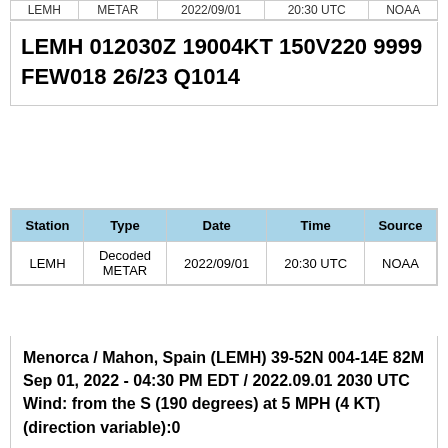| Station | Type | Date | Time | Source |
| --- | --- | --- | --- | --- |
| LEMH | METAR | 2022/09/01 | 20:30 UTC | NOAA |
LEMH 012030Z 19004KT 150V220 9999 FEW018 26/23 Q1014
| Station | Type | Date | Time | Source |
| --- | --- | --- | --- | --- |
| LEMH | Decoded METAR | 2022/09/01 | 20:30 UTC | NOAA |
Menorca / Mahon, Spain (LEMH) 39-52N 004-14E 82M
Sep 01, 2022 - 04:30 PM EDT / 2022.09.01 2030 UTC
Wind: from the S (190 degrees) at 5 MPH (4 KT) (direction variable):0